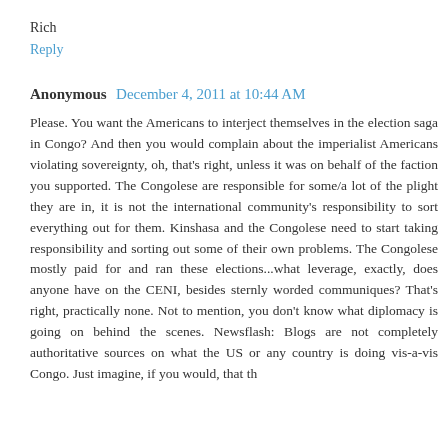Rich
Reply
Anonymous  December 4, 2011 at 10:44 AM
Please. You want the Americans to interject themselves in the election saga in Congo? And then you would complain about the imperialist Americans violating sovereignty, oh, that's right, unless it was on behalf of the faction you supported. The Congolese are responsible for some/a lot of the plight they are in, it is not the international community's responsibility to sort everything out for them. Kinshasa and the Congolese need to start taking responsibility and sorting out some of their own problems. The Congolese mostly paid for and ran these elections...what leverage, exactly, does anyone have on the CENI, besides sternly worded communiques? That's right, practically none. Not to mention, you don't know what diplomacy is going on behind the scenes. Newsflash: Blogs are not completely authoritative sources on what the US or any country is doing vis-a-vis Congo. Just imagine, if you would, that th